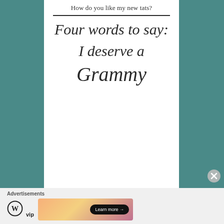How do you like my new tats?
Four words to say: I deserve a Grammy
Advertisements
[Figure (logo): WordPress VIP logo with circle W icon and 'vip' text]
[Figure (screenshot): Advertisement banner with gradient background and 'Learn more' button]